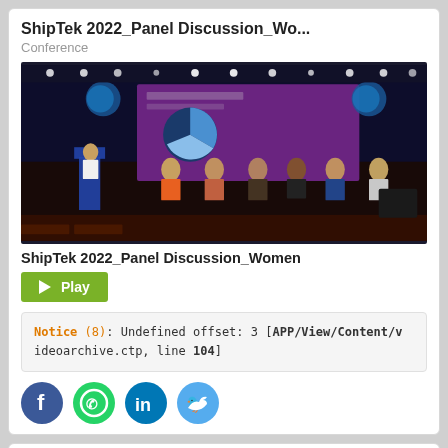ShipTek 2022_Panel Discussion_Wo...
Conference
[Figure (photo): Conference stage with panel discussion, presenters seated on stage, large screen showing a pie chart and purple slide, dark auditorium setting with audience seating.]
ShipTek 2022_Panel Discussion_Women
▶Play
Notice (8): Undefined offset: 3 [APP/View/Content/videoarchive.ctp, line 104]
[Figure (illustration): Social media icons: Facebook (blue), WhatsApp (green), LinkedIn (blue), Twitter (light blue)]
ShipTek 2022_Panel Discussion_Wo...
Conference
[Figure (photo): Partial thumbnail showing blue bokeh/light background.]